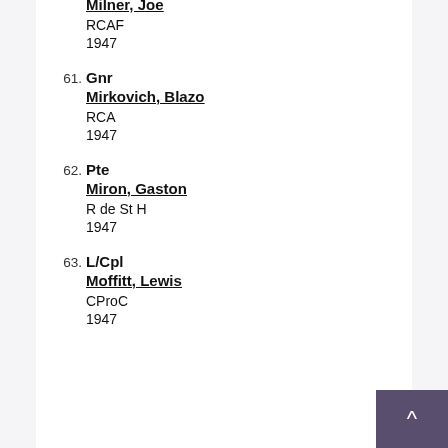F/S Milner, Joe RCAF 1947
61. Gnr Mirkovich, Blazo RCA 1947
62. Pte Miron, Gaston R de St H 1947
63. L/Cpl Moffitt, Lewis CProC 1947